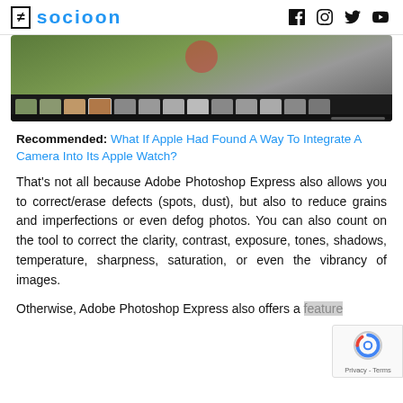GE socioon [social media icons: f, instagram, twitter, youtube]
[Figure (screenshot): Screenshot of a photo editing app showing a landscape photo with red circular element and a filmstrip of thumbnail images at the bottom]
Recommended: What If Apple Had Found A Way To Integrate A Camera Into Its Apple Watch?
That’s not all because Adobe Photoshop Express also allows you to correct/erase defects (spots, dust), but also to reduce grains and imperfections or even defog photos. You can also count on the tool to correct the clarity, contrast, exposure, tones, shadows, temperature, sharpness, saturation, or even the vibrancy of images.
Otherwise, Adobe Photoshop Express also offers a feature